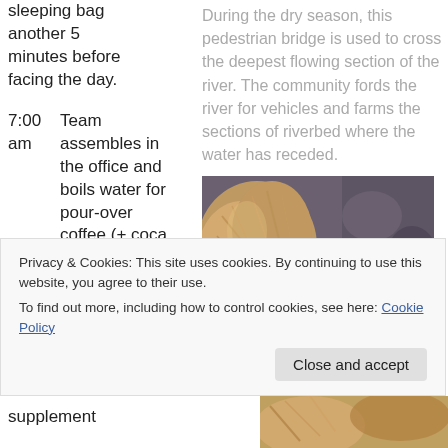sleeping bag another 5 minutes before facing the day.
During the dry season, this pedestrian bridge is used to cross the deepest flowing section of the river. The community fords the river for vehicles and farms the sections of riverbed where the water has receded.
7:00 am	Team assembles in the office and boils water for pour-over coffee (+ coca
[Figure (photo): Photo of golden/tan fibrous texture (possibly plant material or animal fur) against a dark rocky/pebbled background]
Privacy & Cookies: This site uses cookies. By continuing to use this website, you agree to their use.
To find out more, including how to control cookies, see here: Cookie Policy
Close and accept
supplement
[Figure (photo): Photo of golden/tan animal or plant material, partial view at bottom right]